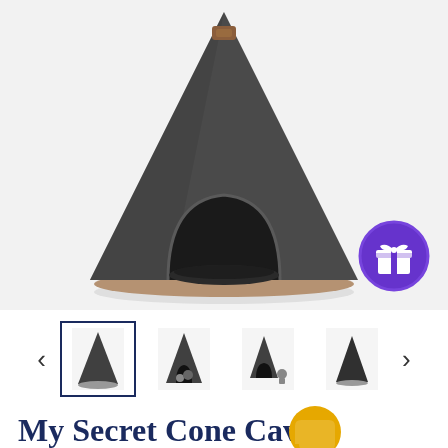[Figure (photo): Dark grey felt cone-shaped cat cave/house with arched entrance, brown base rim, and small brown leather label on top. Product shown on white/light grey background.]
[Figure (infographic): Row of four product thumbnail images showing the cone cat cave from different angles (standalone cone icon, cat inside, cat beside cone, small cone). Navigation arrows on left and right. First thumbnail highlighted with navy border.]
My Secret Cone Cave Easy Assembly Premium